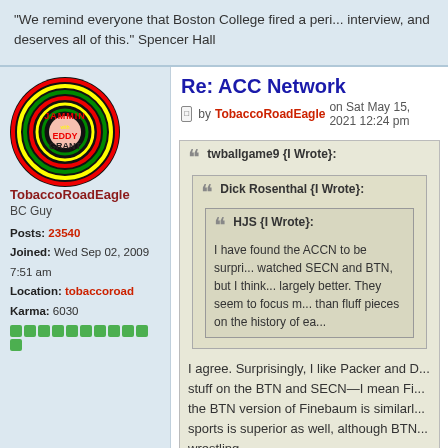We remind everyone that Boston College fired a perfect interview, and deserves all of this." Spencer Hall
Re: ACC Network
by TobaccoRoadEagle on Sat May 15, 2021 12:24 pm
[Figure (photo): Avatar image: Jammin with Eddy Grant circular logo with red, yellow, green concentric rings on black background]
TobaccoRoadEagle
BC Guy
Posts: 23540
Joined: Wed Sep 02, 2009 7:51 am
Location: tobaccoroad
Karma: 6030
twballgame9 {I Wrote}:
Dick Rosenthal {I Wrote}:
HJS {I Wrote}:
I have found the ACCN to be surpri... watched SECN and BTN, but I think... largely better. They seem to focus m... than fluff pieces on the history of ea...
I agree. Surprisingly, I like Packer and D... stuff on the BTN and SECN—I mean Fi... the BTN version of Finebaum is similarl... sports is superior as well, although BTN... wrestling.
Board Judge agrees Packer and Durham a...